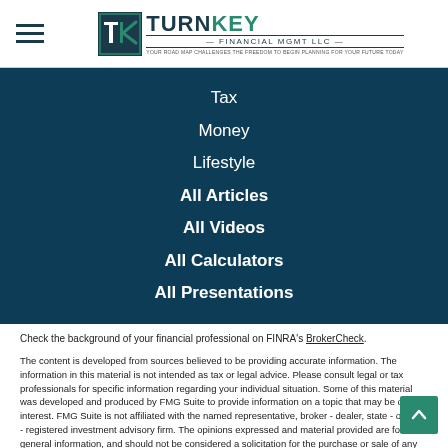[Figure (logo): TurnKey Financial MGMT LLC logo with TK monogram icon and company name]
Tax
Money
Lifestyle
All Articles
All Videos
All Calculators
All Presentations
Check the background of your financial professional on FINRA's BrokerCheck.
The content is developed from sources believed to be providing accurate information. The information in this material is not intended as tax or legal advice. Please consult legal or tax professionals for specific information regarding your individual situation. Some of this material was developed and produced by FMG Suite to provide information on a topic that may be of interest. FMG Suite is not affiliated with the named representative, broker - dealer, state - or SEC - registered investment advisory firm. The opinions expressed and material provided are for general information, and should not be considered a solicitation for the purchase or sale of any security.